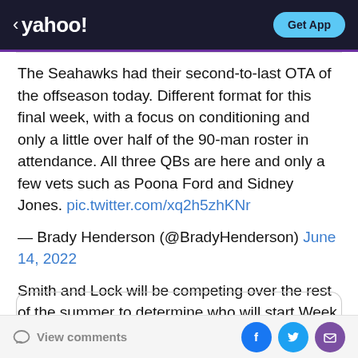< yahoo! | Get App
The Seahawks had their second-to-last OTA of the offseason today. Different format for this final week, with a focus on conditioning and only a little over half of the 90-man roster in attendance. All three QBs are here and only a few vets such as Poona Ford and Sidney Jones. pic.twitter.com/xq2h5zhKNr
— Brady Henderson (@BradyHenderson) June 14, 2022
Smith and Lock will be competing over the rest of the summer to determine who will start Week 1. For now, Smith is in the lead.
View comments